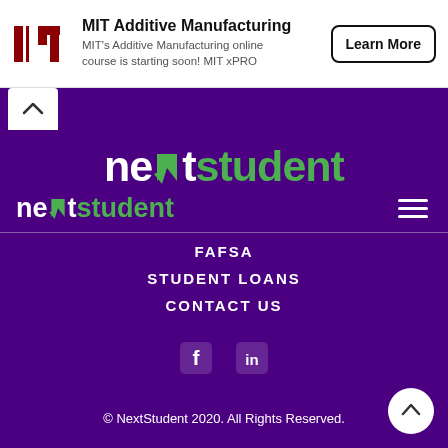[Figure (logo): MIT logo (black bars forming MIT letters) alongside MIT Additive Manufacturing ad with Learn More button]
MIT Additive Manufacturing
MIT's Additive Manufacturing online course is starting soon! MIT xPRO
[Figure (logo): NextStudent logo large: 'next' in white with green checkmark, 'student' in green]
[Figure (logo): NextStudent logo small: 'next' in white with green checkmark, 'student' in green, with hamburger menu]
FAFSA
STUDENT LOANS
CONTACT US
[Figure (illustration): Facebook and LinkedIn social media icons in white]
© NextStudent 2020. All Rights Reserved.